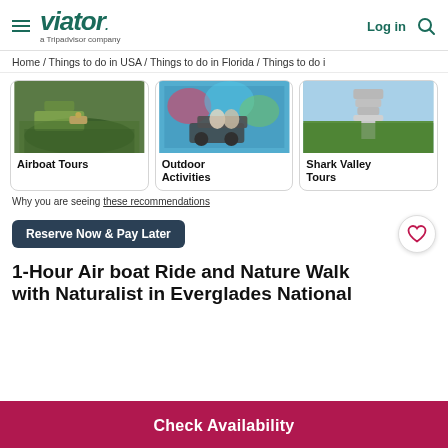viator - a Tripadvisor company | Log in
Home / Things to do in USA / Things to do in Florida / Things to do i
[Figure (photo): Card: Airboat Tours - photo of airboat in swamp]
[Figure (photo): Card: Outdoor Activities - photo of golf cart in front of graffiti wall]
[Figure (photo): Card: Shark Valley Tours - photo of observation tower in Everglades]
Why you are seeing these recommendations
Reserve Now & Pay Later
1-Hour Air boat Ride and Nature Walk with Naturalist in Everglades National
Check Availability